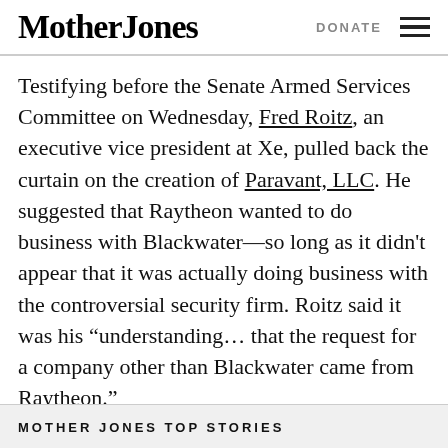Mother Jones | DONATE
Testifying before the Senate Armed Services Committee on Wednesday, Fred Roitz, an executive vice president at Xe, pulled back the curtain on the creation of Paravant, LLC. He suggested that Raytheon wanted to do business with Blackwater—so long as it didn't appear that it was actually doing business with the controversial security firm. Roitz said it was his “understanding… that the request for a company other than Blackwater came from Raytheon.”
MOTHER JONES TOP STORIES